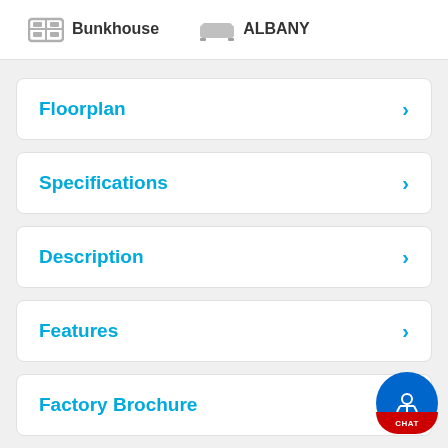Bunkhouse
ALBANY
Floorplan
Specifications
Description
Features
Factory Brochure